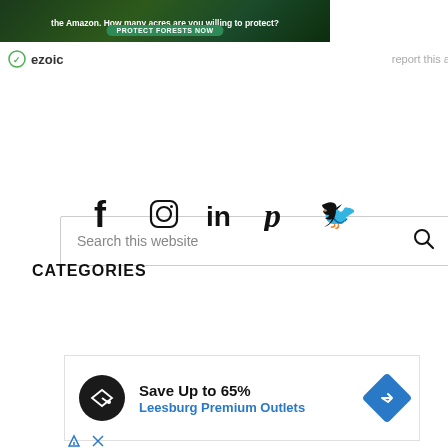[Figure (infographic): Green Amazon forest ad banner with text 'the Amazon. How many acres are you willing to protect?' and a green 'PROTECT FORESTS NOW' button]
ezoic   report this ad
[Figure (infographic): Search bar with placeholder text 'Search this website' and a magnifying glass icon]
[Figure (infographic): Social media icons: Facebook, Instagram, LinkedIn, Pinterest, Twitter]
CATEGORIES
[Figure (infographic): Dropdown select box with text 'Select Category' and a chevron/arrow icon]
[Figure (infographic): Advertisement: 'Save Up to 65% Leesburg Premium Outlets' with circular logo and blue diamond navigation icon]